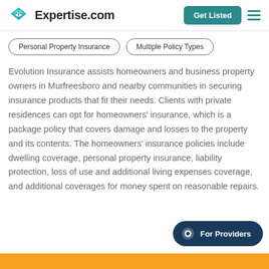Expertise.com — Get Listed
Personal Property Insurance
Multiple Policy Types
Evolution Insurance assists homeowners and business property owners in Murfreesboro and nearby communities in securing insurance products that fit their needs. Clients with private residences can opt for homeowners' insurance, which is a package policy that covers damage and losses to the property and its contents. The homeowners' insurance policies include dwelling coverage, personal property insurance, liability protection, loss of use and additional living expenses coverage, and additional coverages for money spent on reasonable repairs.